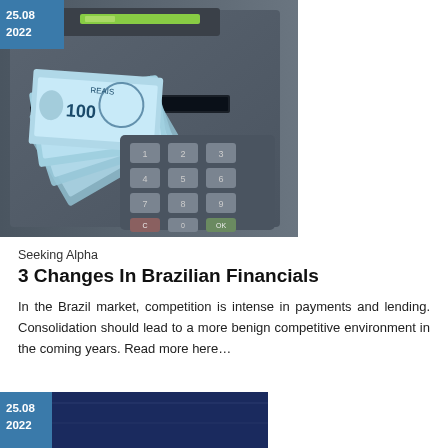[Figure (photo): ATM machine dispensing a fan of Brazilian Real (R$100) banknotes, with dark gray ATM body and keypad visible]
25.08
2022
Seeking Alpha
3 Changes In Brazilian Financials
In the Brazil market, competition is intense in payments and lending. Consolidation should lead to a more benign competitive environment in the coming years. Read more here...
[Figure (photo): Partial view of a second article with dark navy blue image and date badge 25.08 2022]